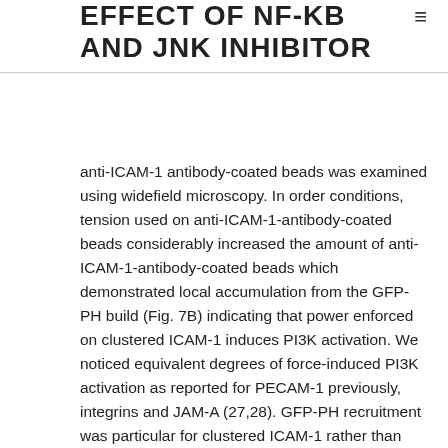EFFECT OF NF-KB AND JNK INHIBITOR
anti-ICAM-1 antibody-coated beads was examined using widefield microscopy. In order conditions, tension used on anti-ICAM-1-antibody-coated beads considerably increased the amount of anti-ICAM-1-antibody-coated beads which demonstrated local accumulation from the GFP-PH build (Fig. 7B) indicating that power enforced on clustered ICAM-1 induces PI3K activation. We noticed equivalent degrees of force-induced PI3K activation as reported for PECAM-1 previously, integrins and JAM-A (27,28). GFP-PH recruitment was particular for clustered ICAM-1 rather than because of